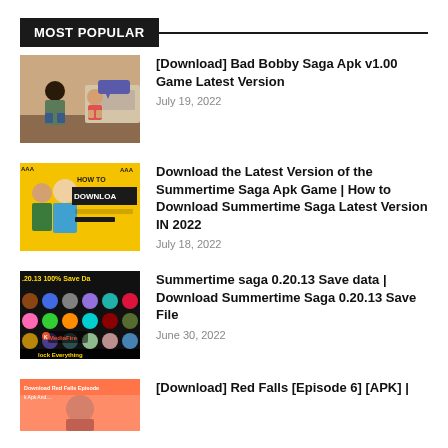MOST POPULAR
[Figure (photo): Screenshot from Bad Bobby Saga game showing two characters indoors]
[Download] Bad Bobby Saga Apk v1.00 Game Latest Version
July 19, 2022
[Figure (photo): Yellow promotional thumbnail for Summertime Saga APK download guide with HOW TO DOWNLOAD text]
Download the Latest Version of the Summertime Saga Apk Game | How to Download Summertime Saga Latest Version IN 2022
July 18, 2022
[Figure (photo): Dark thumbnail showing character grid with 0.20.13 100% Save Data text and MediaFire logo]
Summertime saga 0.20.13 Save data | Download Summertime Saga 0.20.13 Save File
June 30, 2022
[Figure (photo): Thumbnail for Red Falls Episode 6 APK download]
[Download] Red Falls [Episode 6] [APK] |